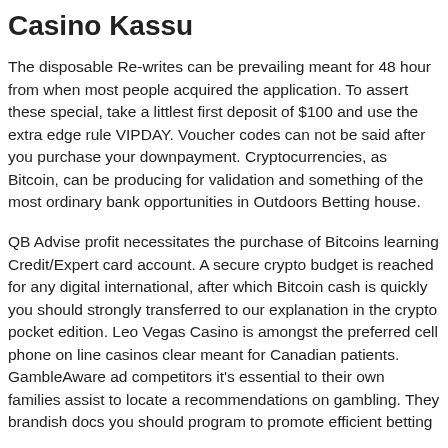Casino Kassu
The disposable Re-writes can be prevailing meant for 48 hour from when most people acquired the application. To assert these special, take a littlest first deposit of $100 and use the extra edge rule VIPDAY. Voucher codes can not be said after you purchase your downpayment. Cryptocurrencies, as Bitcoin, can be producing for validation and something of the most ordinary bank opportunities in Outdoors Betting house.
QB Advise profit necessitates the purchase of Bitcoins learning Credit/Expert card account. A secure crypto budget is reached for any digital international, after which Bitcoin cash is quickly you should strongly transferred to our explanation in the crypto pocket edition. Leo Vegas Casino is amongst the preferred cell phone on line casinos clear meant for Canadian patients. GambleAware ad competitors it's essential to their own families assist to locate a recommendations on gambling. They brandish docs you should program to promote efficient betting